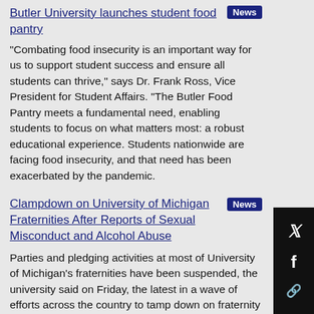Butler University launches student food pantry
“Combating food insecurity is an important way for us to support student success and ensure all students can thrive,” says Dr. Frank Ross, Vice President for Student Affairs. “The Butler Food Pantry meets a fundamental need, enabling students to focus on what matters most: a robust educational experience. Students nationwide are facing food insecurity, and that need has been exacerbated by the pandemic.
Clampdown on University of Michigan Fraternities After Reports of Sexual Misconduct and Alcohol Abuse
Parties and pledging activities at most of University of Michigan’s fraternities have been suspended, the university said on Friday, the latest in a wave of efforts across the country to tamp down on fraternity excesses leading to sexual misconduct, alcohol and drug abuse and deaths.